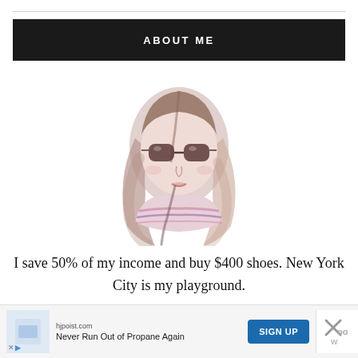ABOUT ME
[Figure (illustration): Fashion illustration of a young woman with long brown hair wearing oversized sunglasses and a striped top, rendered in a loose watercolor style]
I save 50% of my income and buy $400 shoes. New York City is my playground.
hjpoist.com — Never Run Out of Propane Again — SIGN UP